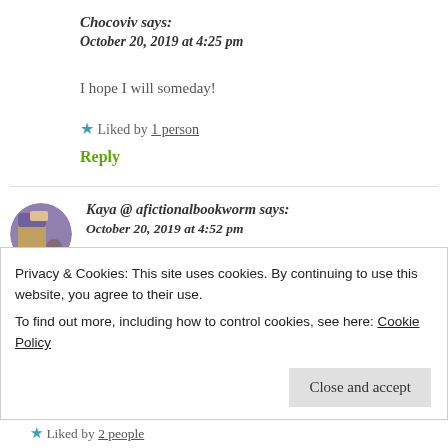Chocoviv says:
October 20, 2019 at 4:25 pm
I hope I will someday!
★ Liked by 1 person
Reply
Kaya @ afictionalbookworm says:
October 20, 2019 at 4:52 pm
Privacy & Cookies: This site uses cookies. By continuing to use this website, you agree to their use.
To find out more, including how to control cookies, see here: Cookie Policy
Close and accept
★ Liked by 2 people